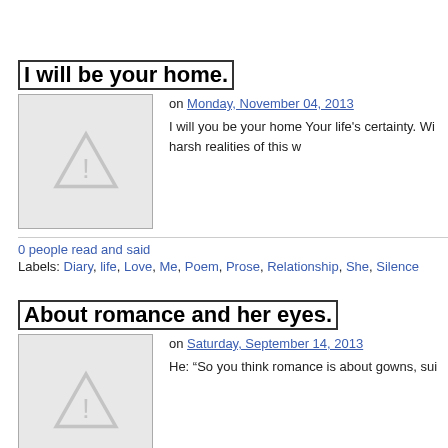I will be your home.
on Monday, November 04, 2013
I will you be your home Your life's certainty. Wi harsh realities of this w
0 people read and said
Labels: Diary, life, Love, Me, Poem, Prose, Relationship, She, Silence
About romance and her eyes.
on Saturday, September 14, 2013
He: “So you think romance is about gowns, sui